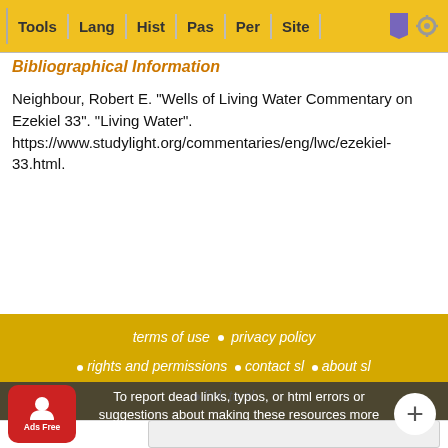Tools  Lang  Hist  Pas  Per  Site
Bibliographical Information
Neighbour, Robert E. "Wells of Living Water Commentary on Ezekiel 33". "Living Water". https://www.studylight.org/commentaries/eng/lwc/ezekiel-33.html.
terms of use  •  privacy policy  •  rights and permissions  •  contact sl  •  about sl  •  link to sl
To report dead links, typos, or html errors or suggestions about making these resources more useful use the convenient contact form
StudyLight  ...hnology